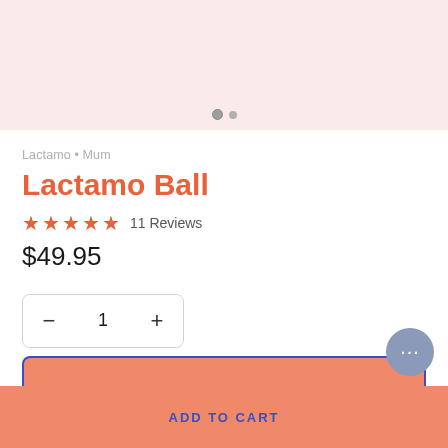[Figure (photo): Product image area with pink/salmon background and carousel dot indicators]
Lactamo • Mum
Lactamo Ball
★★★★★ 11 Reviews
$49.95
− 1 +
ADD TO CART